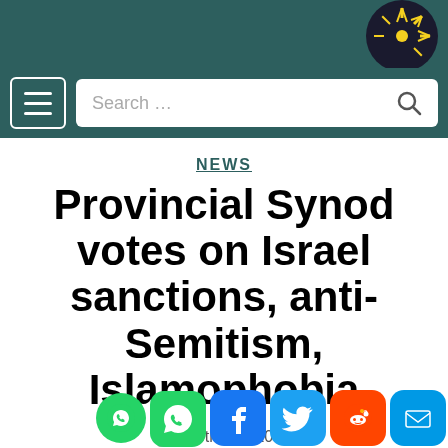[Figure (logo): Website logo with sunburst/compass design in top right of dark teal banner]
[Figure (screenshot): Navigation bar with hamburger menu button and search box with magnifying glass icon on dark teal background]
NEWS
Provincial Synod votes on Israel sanctions, anti-Semitism, Islamophobia
26th Sep 2019
[Figure (infographic): Social sharing icons: WhatsApp (green), WhatsApp (green), Facebook (blue), Twitter (blue), Reddit (orange), Email (blue)]